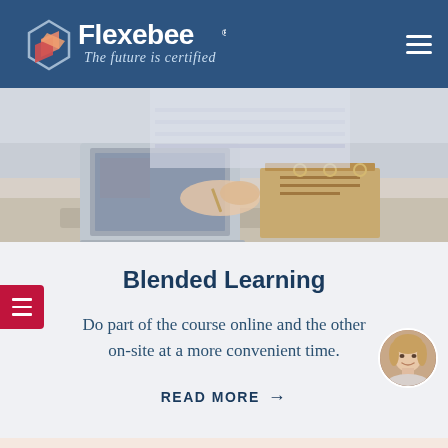Flexebee — The future is certified
[Figure (photo): Person studying with laptop and open books/binder on a desk]
Blended Learning
Do part of the course online and the other on-site at a more convenient time.
READ MORE →